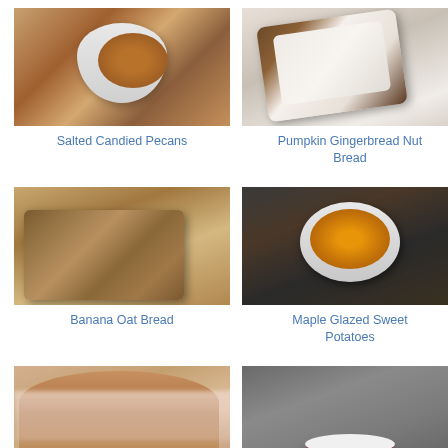[Figure (photo): Salted candied pecans in a white ramekin bowl]
Salted Candied Pecans
[Figure (photo): Slice of pumpkin gingerbread nut bread on a plate]
Pumpkin Gingerbread Nut Bread
[Figure (photo): Slices of banana oat bread]
Banana Oat Bread
[Figure (photo): Maple glazed sweet potatoes in a white bowl]
Maple Glazed Sweet Potatoes
[Figure (photo): Bread with icing/frosting, partially visible]
[Figure (photo): Red velvet whoopie pies on a surface]